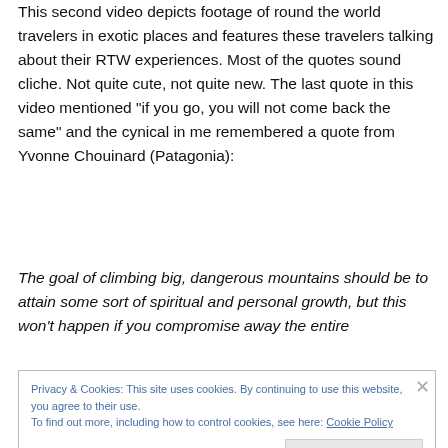This second video depicts footage of round the world travelers in exotic places and features these travelers talking about their RTW experiences. Most of the quotes sound cliche. Not quite cute, not quite new. The last quote in this video mentioned “if you go, you will not come back the same” and the cynical in me remembered a quote from Yvonne Chouinard (Patagonia):
The goal of climbing big, dangerous mountains should be to attain some sort of spiritual and personal growth, but this won’t happen if you compromise away the entire
Privacy & Cookies: This site uses cookies. By continuing to use this website, you agree to their use.
To find out more, including how to control cookies, see here: Cookie Policy
Close and accept